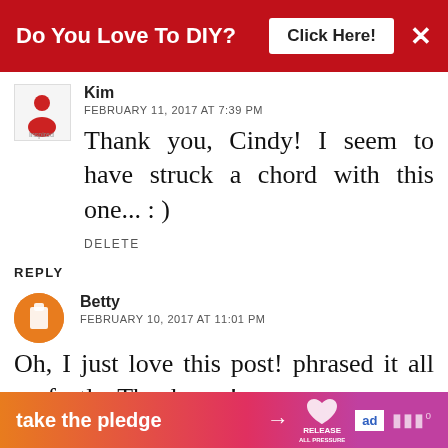[Figure (screenshot): Red banner ad: 'Do You Love To DIY? Click Here!' with X close button]
Kim
FEBRUARY 11, 2017 AT 7:39 PM
Thank you, Cindy! I seem to have struck a chord with this one... : )
DELETE
REPLY
Betty
FEBRUARY 10, 2017 AT 11:01 PM
Oh, I just love this post! phrased it all perfectly. Thank you!
[Figure (infographic): Bottom orange-to-pink banner: 'take the pledge' with arrow, RELEASE logo, ed logo, and speaker icon]